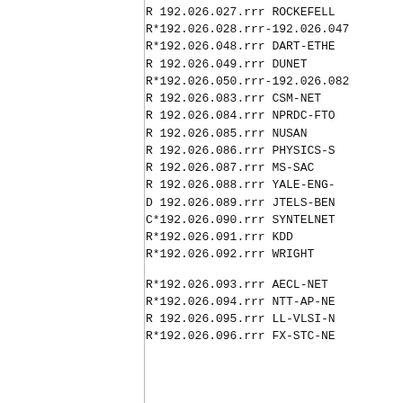| Type | Address | Name |
| --- | --- | --- |
| R | 192.026.027.rrr | ROCKEFELL... |
| R* | 192.026.028.rrr-192.026.047 | ... |
| R* | 192.026.048.rrr | DART-ETHE... |
| R | 192.026.049.rrr | DUNET |
| R* | 192.026.050.rrr-192.026.082 | ... |
| R | 192.026.083.rrr | CSM-NET |
| R | 192.026.084.rrr | NPRDC-FTO... |
| R | 192.026.085.rrr | NUSAN |
| R | 192.026.086.rrr | PHYSICS-S... |
| R | 192.026.087.rrr | MS-SAC |
| R | 192.026.088.rrr | YALE-ENG-... |
| D | 192.026.089.rrr | JTELS-BEN... |
| C* | 192.026.090.rrr | SYNTELNET... |
| R* | 192.026.091.rrr | KDD |
| R* | 192.026.092.rrr | WRIGHT |
| R* | 192.026.093.rrr | AECL-NET |
| R* | 192.026.094.rrr | NTT-AP-NE... |
| R | 192.026.095.rrr | LL-VLSI-N... |
| R* | 192.026.096.rrr | FX-STC-NE... |